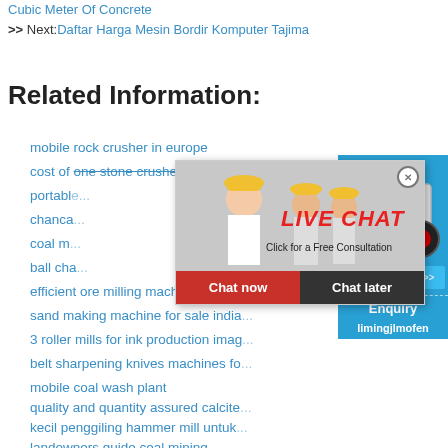Cubic Meter Of Concrete
>> Next: Daftar Harga Mesin Bordir Komputer Tajima
Related Information:
mobile rock crusher in europe
cost of one stone crusher plant in indonesia
portable...
chanca...
coal m...
ball cha...
efficient ore milling machine axis o...
sand making machine for sale india...
3 roller mills for ink production imag...
belt sharpening knives machines fo...
mobile coal wash plant
quality and quantity assured calcite...
kecil penggiling hammer mill untuk...
landowners guide coal mining
[Figure (screenshot): Live chat popup overlay with workers in hard hats, LIVE CHAT text in red, Click for a Free Consultation subtitle, Chat now and Chat later buttons]
[Figure (infographic): Right sidebar widget with hour online text, crusher machine image, Click me to chat button, Enquiry section, and limingjlmofen text on blue background]